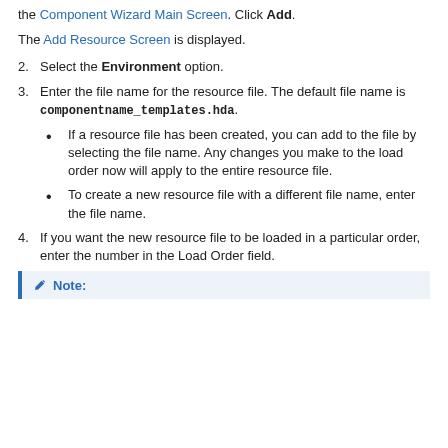the Component Wizard Main Screen. Click Add.
The Add Resource Screen is displayed.
2. Select the Environment option.
3. Enter the file name for the resource file. The default file name is componentname_templates.hda.
If a resource file has been created, you can add to the file by selecting the file name. Any changes you make to the load order now will apply to the entire resource file.
To create a new resource file with a different file name, enter the file name.
4. If you want the new resource file to be loaded in a particular order, enter the number in the Load Order field.
Note: